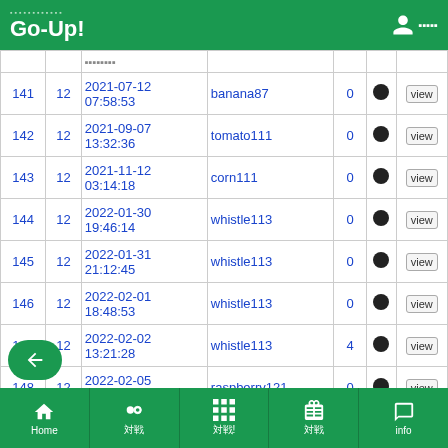Go-Up!
| ID | N | DateTime | User | Cnt |  |  |
| --- | --- | --- | --- | --- | --- | --- |
| 141 | 12 | 2021-07-12 07:58:53 | banana87 | 0 | ● | view |
| 142 | 12 | 2021-09-07 13:32:36 | tomato111 | 0 | ● | view |
| 143 | 12 | 2021-11-12 03:14:18 | corn111 | 0 | ● | view |
| 144 | 12 | 2022-01-30 19:46:14 | whistle113 | 0 | ● | view |
| 145 | 12 | 2022-01-31 21:12:45 | whistle113 | 0 | ● | view |
| 146 | 12 | 2022-02-01 18:48:53 | whistle113 | 0 | ● | view |
| 147 | 12 | 2022-02-02 13:21:28 | whistle113 | 4 | ● | view |
| 148 | 12 | 2022-02-05 13:28:43 | raspberry121 | 0 | ● | view |
| 149 | 12 | 2022-02-05 20:52:48 | pear144 | 0 | ● | view |
Home | 対戦 | 対戦! | 対戦 | info